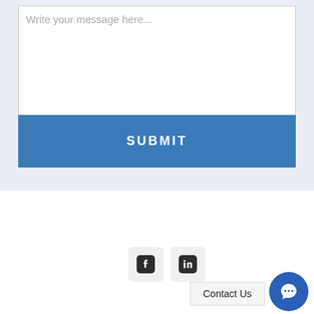[Figure (screenshot): Text area input field with placeholder text 'Write your message here...' and a resize handle at the bottom right]
[Figure (screenshot): Blue SUBMIT button]
[Figure (screenshot): Social media icons: Facebook and LinkedIn rounded square buttons]
Contact Us
[Figure (screenshot): Blue circular chat bubble button]